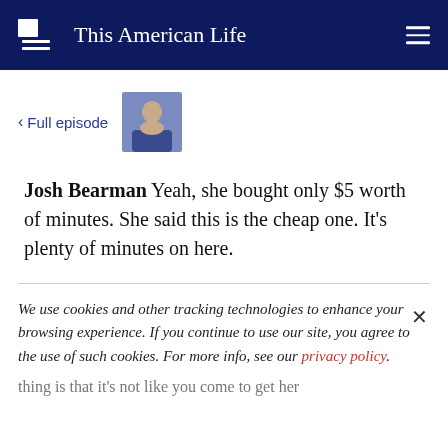This American Life
< Full episode
Josh Bearman Yeah, she bought only $5 worth of minutes. She said this is the cheap one. It's plenty of minutes on here.
We use cookies and other tracking technologies to enhance your browsing experience. If you continue to use our site, you agree to the use of such cookies. For more info, see our privacy policy.
thing is that it's not like you come to get her